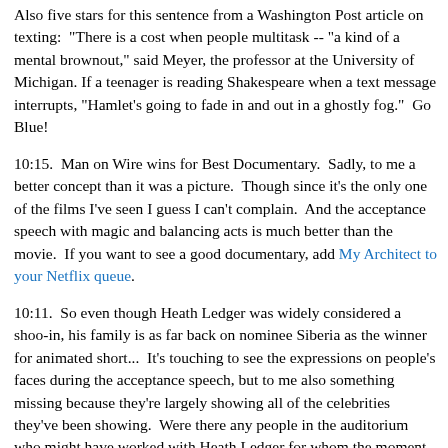Also five stars for this sentence from a Washington Post article on texting:  "There is a cost when people multitask -- "a kind of a mental brownout," said Meyer, the professor at the University of Michigan. If a teenager is reading Shakespeare when a text message interrupts, "Hamlet's going to fade in and out in a ghostly fog."  Go Blue!
10:15.  Man on Wire wins for Best Documentary.  Sadly, to me a better concept than it was a picture.  Though since it's the only one of the films I've seen I guess I can't complain.  And the acceptance speech with magic and balancing acts is much better than the movie.  If you want to see a good documentary, add My Architect to your Netflix queue.
10:11.  So even though Heath Ledger was widely considered a shoo-in, his family is as far back on nominee Siberia as the winner for animated short...  It's touching to see the expressions on people's faces during the acceptance speech, but to me also something missing because they're largely showing all of the celebrities they've been showing.  Were there any people in the auditorium who might have worked with Heath Ledger for whom the moment might have